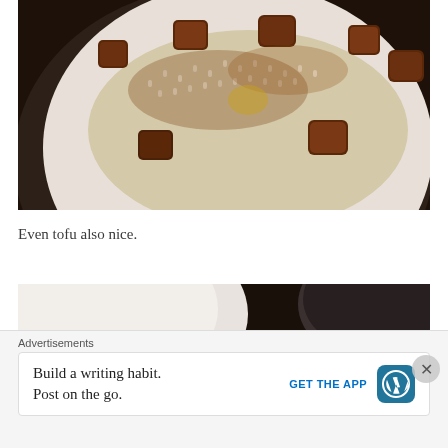[Figure (photo): Close-up photo of a white bowl containing white rice topped with braised pork belly pieces in dark brown sauce, photographed from above on a dark stone surface.]
Even tofu also nice.
[Figure (photo): Partial photo showing a white bowl and a dark vessel on a dark surface, with orange/brown food visible at the bottom left corner.]
Advertisements
Build a writing habit. Post on the go.
GET THE APP